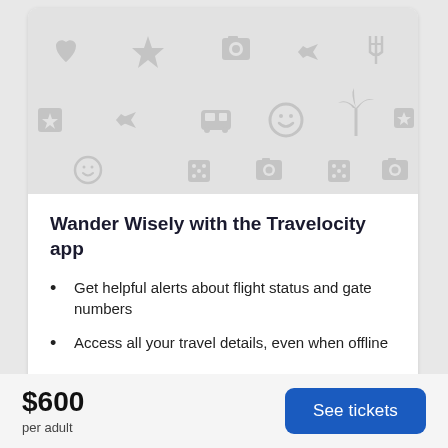[Figure (illustration): Decorative travel-themed icon pattern on light gray background: hearts, stars, airplane, camera, smiley faces, palm trees, map pins, dice icons arranged in a grid pattern]
Wander Wisely with the Travelocity app
Get helpful alerts about flight status and gate numbers
Access all your travel details, even when offline
Easily contact your hotel by messaging them right in the app
$600
per adult